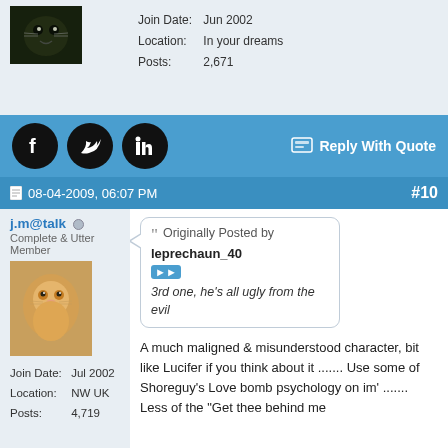[Figure (photo): User avatar: dark/animal photo]
Join Date:	Jun 2002
Location:	In your dreams
Posts:	2,671
[Figure (logo): Social media icons: Facebook, Twitter, LinkedIn]
Reply With Quote
08-04-2009, 06:07 PM	#10
j.m@talk
Complete & Utter Member
[Figure (photo): User avatar: orange cat photo]
Join Date:	Jul 2002
Location:	NW UK
Posts:	4,719
Originally Posted by leprechaun_40
3rd one, he's all ugly from the evil
A much maligned & misunderstood character, bit like Lucifer if you think about it ....... Use some of Shoreguy's Love bomb psychology on im' ....... Less of the "Get thee behind me